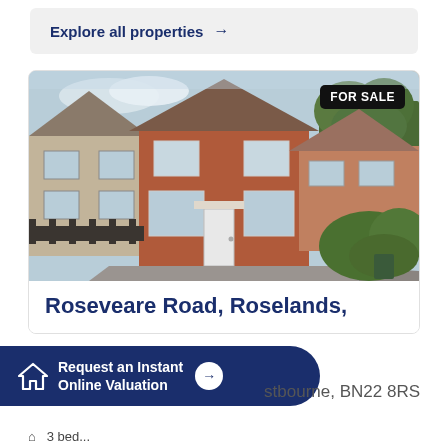Explore all properties →
[Figure (photo): Exterior photo of a semi-detached brick house on Roseveare Road, Roselands, with a FOR SALE badge in the top right corner]
Roseveare Road, Roselands,
Request an Instant Online Valuation →
stbourne, BN22 8RS